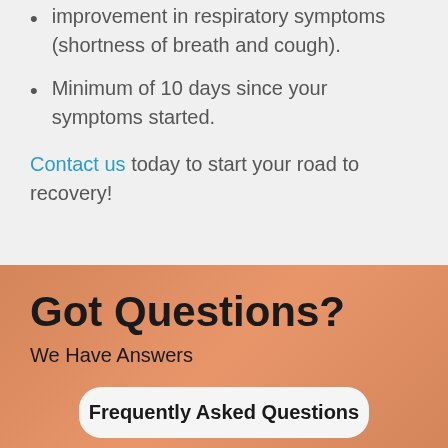improvement in respiratory symptoms (shortness of breath and cough).
Minimum of 10 days since your symptoms started.
Contact us today to start your road to recovery!
Got Questions?
We Have Answers
Frequently Asked Questions